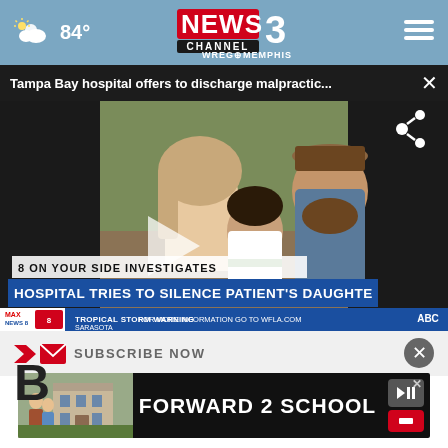84° NEWS CHANNEL 3 WREG MEMPHIS
Tampa Bay hospital offers to discharge malpractic... ×
[Figure (screenshot): Video thumbnail showing a family photo with a woman, child, and bearded man. Lower third reads: 8 ON YOUR SIDE INVESTIGATES / HOSPITAL TRIES TO SILENCE PATIENT'S DAUGHTE. Ticker bar shows TROPICAL STORM WARNING SARASOTA / FOR MORE INFORMATION GO TO WFLA.COM / ABC]
SUBSCRIBE NOW
[Figure (photo): Advertisement banner: FORWARD 2 SCHOOL with a photo of people in front of a brick building]